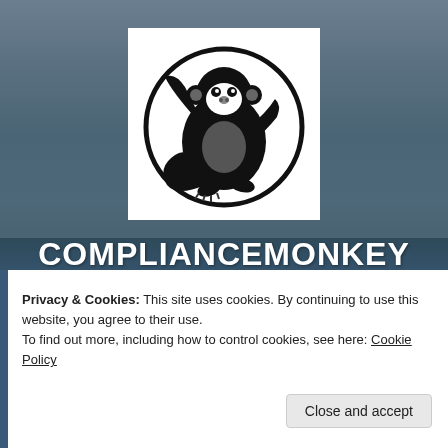[Figure (logo): ComplianceMonkey logo: black and white illustration of a monkey inside a circular border]
COMPLIANCEMONKEY
Compliance and the regulatory framework in Guernsey
Privacy & Cookies: This site uses cookies. By continuing to use this website, you agree to their use. To find out more, including how to control cookies, see here: Cookie Policy
Close and accept